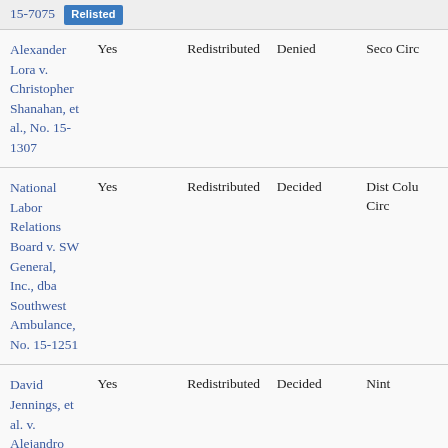| Case Name | Yes | Redistribued | Status | Circuit |
| --- | --- | --- | --- | --- |
| 15-7075 [Relisted] |  |  |  |  |
| Alexander Lora v. Christopher Shanahan, et al., No. 15-1307 | Yes | Redistributed | Denied | Seco
Circ |
| National Labor Relations Board v. SW General, Inc., dba Southwest Ambulance, No. 15-1251 | Yes | Redistributed | Decided | Dist
Colu
Circ |
| David Jennings, et al. v. Alejandro Rodriguez, et al., Individually and on Behalf of All Others Similarly Situated, No. 15-1204 | Yes | Redistributed | Decided | Nint |